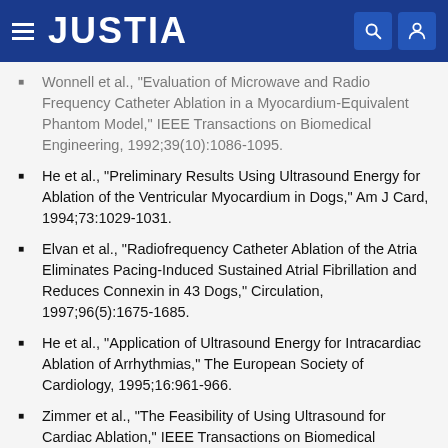JUSTIA
Wonnell et al., "Evaluation of Microwave and Radio Frequency Catheter Ablation in a Myocardium-Equivalent Phantom Model," IEEE Transactions on Biomedical Engineering, 1992;39(10):1086-1095.
He et al., "Preliminary Results Using Ultrasound Energy for Ablation of the Ventricular Myocardium in Dogs," Am J Card, 1994;73:1029-1031.
Elvan et al., "Radiofrequency Catheter Ablation of the Atria Eliminates Pacing-Induced Sustained Atrial Fibrillation and Reduces Connexin in 43 Dogs," Circulation, 1997;96(5):1675-1685.
He et al., "Application of Ultrasound Energy for Intracardiac Ablation of Arrhythmias," The European Society of Cardiology, 1995;16:961-966.
Zimmer et al., "The Feasibility of Using Ultrasound for Cardiac Ablation," IEEE Transactions on Biomedical Engineering, 1995;42(9):891-897.